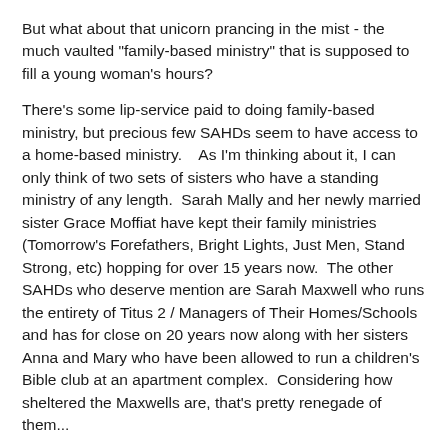But what about that unicorn prancing in the mist - the much vaulted "family-based ministry" that is supposed to fill a young woman's hours?
There's some lip-service paid to doing family-based ministry, but precious few SAHDs seem to have access to a home-based ministry.   As I'm thinking about it, I can only think of two sets of sisters who have a standing ministry of any length.  Sarah Mally and her newly married sister Grace Moffiat have kept their family ministries (Tomorrow's Forefathers, Bright Lights, Just Men, Stand Strong, etc) hopping for over 15 years now.  The other SAHDs who deserve mention are Sarah Maxwell who runs the entirety of Titus 2 / Managers of Their Homes/Schools and has for close on 20 years now along with her sisters Anna and Mary who have been allowed to run a children's Bible club at an apartment complex.  Considering how sheltered the Maxwells are, that's pretty renegade of them...
But even those ministries are constrained in many ways.
Grace and Sarah Mally set up various clubs, book studios...